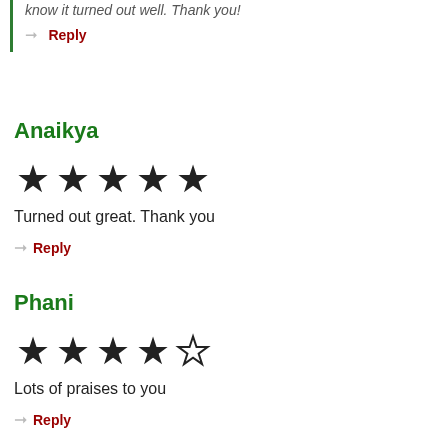know it turned out well. Thank you!
Reply
Anaikya
[Figure (other): 5 filled stars rating]
Turned out great. Thank you
Reply
Phani
[Figure (other): 4 filled stars and 1 empty star rating]
Lots of praises to you
Reply